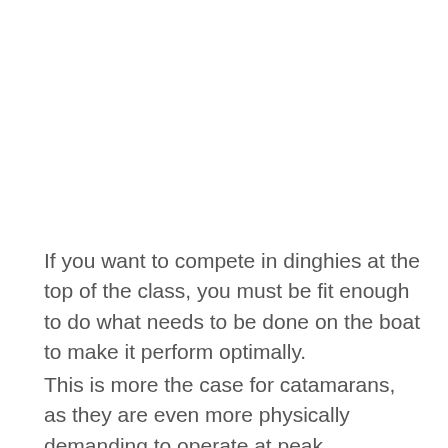If you want to compete in dinghies at the top of the class, you must be fit enough to do what needs to be done on the boat to make it perform optimally.
This is more the case for catamarans, as they are even more physically demanding to operate at peak efficiency. Distance catamaran racing is particularly grueling, where the crew is hiking in trapezes for